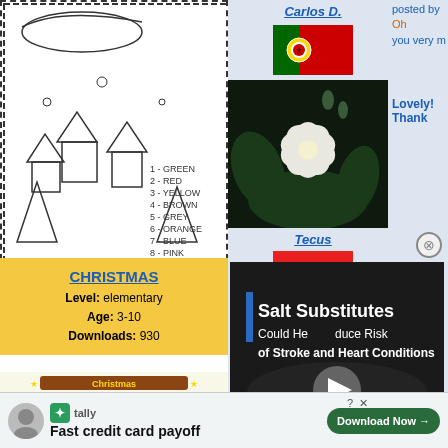[Figure (illustration): Christmas coloring page with Santa sleigh, snowy village, trees, and color key: 1-GREEN, 2-RED, 3-YELLOW, 4-BROWN, 5-GREY, 6-ORANGE, 7-BLUE, 8-PINK]
CHRISTMAS
Level: elementary
Age: 3-10
Downloads: 930
[Figure (illustration): Christmas worksheet preview showing Christmas activities]
Carlos D.
[Figure (photo): Portugal flag]
[Figure (photo): Close-up photo of a white flower against dark background]
Lovely! Thank
Tecus
[Figure (photo): Red flag (Indonesia/flag)]
[Figure (screenshot): Video thumbnail: Salt Substitutes Could Help Reduce Risk of Stroke and Heart Conditions]
Tmk939
Fast credit card payoff
Download Now →